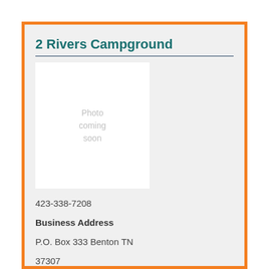2 Rivers Campground
[Figure (photo): Placeholder image with text 'Photo coming soon']
423-338-7208
Business Address
P.O. Box 333 Benton TN 37307